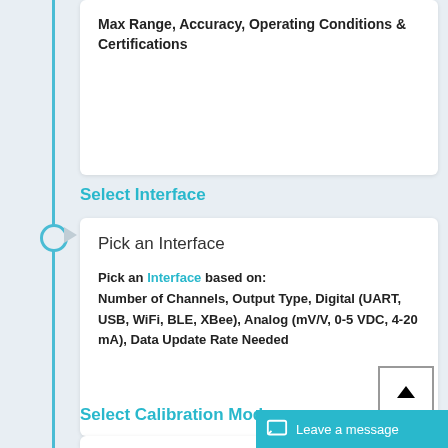Max Range, Accuracy, Operating Conditions & Certifications
Select Interface
Pick an Interface
Pick an Interface based on: Number of Channels, Output Type, Digital (UART, USB, WiFi, BLE, XBee), Analog (mV/V, 0-5 VDC, 4-20 mA), Data Update Rate Needed
Select Calibration Mode